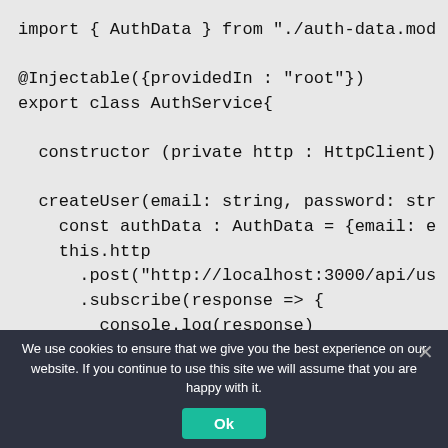import { AuthData } from "./auth-data.mod
@Injectable({providedIn : "root"})
export class AuthService{

  constructor (private http : HttpClient)

  createUser(email: string, password: str
    const authData : AuthData = {email: e
    this.http
      .post("http://localhost:3000/api/us
      .subscribe(response => {
        console.log(response)
      })
  }
}
We use cookies to ensure that we give you the best experience on our website. If you continue to use this site we will assume that you are happy with it.